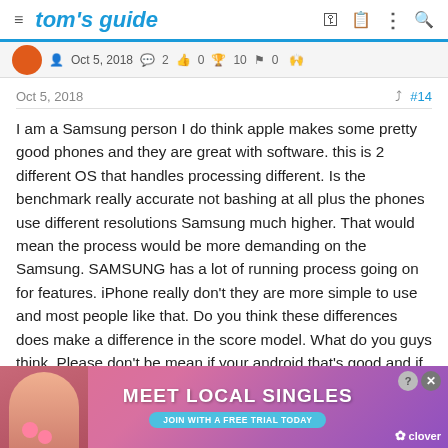tom's guide
Oct 5, 2018  2  0  10  0
Oct 5, 2018  #14
I am a Samsung person I do think apple makes some pretty good phones and they are great with software. this is 2 different OS that handles processing different. Is the benchmark really accurate not bashing at all plus the phones use different resolutions Samsung much higher. That would mean the process would be more demanding on the Samsung. SAMSUNG has a lot of running process going on for features. iPhone really don't they are more simple to use and most people like that. Do you think these differences does make a difference in the score model. What do you guys think. Please don't be mean if your android that's good and if you are iphone cool. What do u think about what I brought up not who makes a better phone.
[Figure (photo): Advertisement banner: Meet Local Singles - Join with a free trial today - Clover]